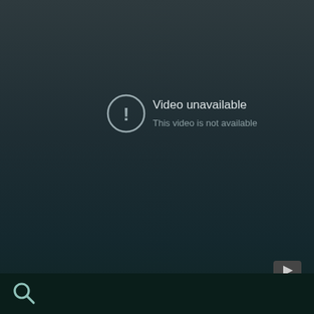[Figure (screenshot): Video unavailable error screen with exclamation circle icon, text 'Video unavailable' and 'This video is not available', YouTube logo icon in bottom right of video area]
I LOOKED IN THE CABINET AND GRAB ME A POT
CUT THE STOVE ON SO THAT IT COULD GET HOT
CUT ON THE SINK, TO GET ME SOME WATER
PUT IT IN THE POT TO BOIL FOR MY NOODLES

REACHED IN THE CABINET GOT THE PACK OUT
OPENED UP THE PACK TO GET THE NOODLES OUT
WATER IS BOILING PUT THE NOODLES IN
AND GOT ME ABOUT TO PUT THE NOODLES IN
WHEN THEY FINISH
[Figure (screenshot): Search icon (magnifying glass) in bottom left corner on dark bar]